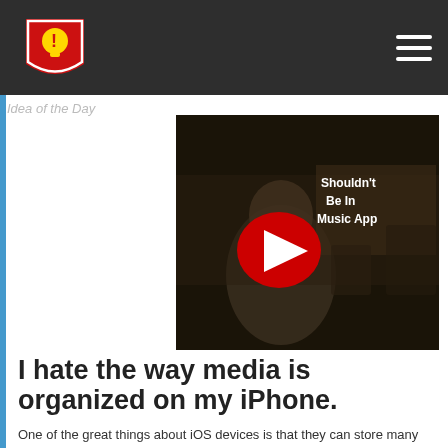Idea of the Day — navigation bar with logo and hamburger menu
[Figure (screenshot): YouTube video thumbnail showing a man with text 'Shouldn't Be In Music App' and a red YouTube play button overlay]
I hate the way media is organized on my iPhone.
One of the great things about iOS devices is that they can store many different types of media. The trouble is Apple doesn't do a good job of organizing things.